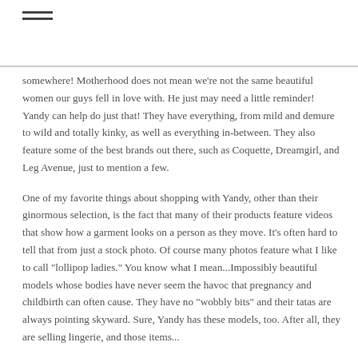≡
somewhere! Motherhood does not mean we're not the same beautiful women our guys fell in love with. He just may need a little reminder! Yandy can help do just that! They have everything, from mild and demure to wild and totally kinky, as well as everything in-between. They also feature some of the best brands out there, such as Coquette, Dreamgirl, and Leg Avenue, just to mention a few.
One of my favorite things about shopping with Yandy, other than their ginormous selection, is the fact that many of their products feature videos that show how a garment looks on a person as they move. It's often hard to tell that from just a stock photo. Of course many photos feature what I like to call "lollipop ladies." You know what I mean...Impossibly beautiful models whose bodies have never seem the havoc that pregnancy and childbirth can often cause. They have no "wobbly bits" and their tatas are always pointing skyward. Sure, Yandy has these models, too. After all, they are selling lingerie, and those items...